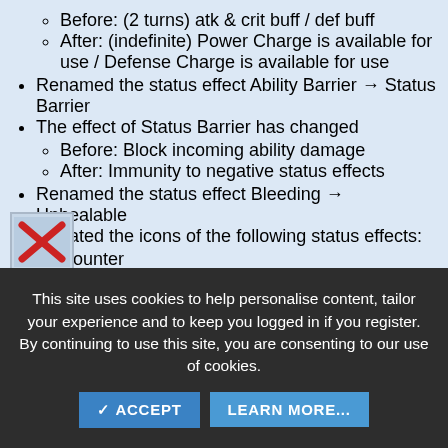Before: (2 turns) atk & crit buff / def buff
After: (indefinite) Power Charge is available for use / Defense Charge is available for use
Renamed the status effect Ability Barrier → Status Barrier
The effect of Status Barrier has changed
Before: Block incoming ability damage
After: Immunity to negative status effects
Renamed the status effect Bleeding → Unhealable
Updated the icons of the following status effects:
Counter
[Figure (illustration): Partially visible game icon with a red X mark overlay]
This site uses cookies to help personalise content, tailor your experience and to keep you logged in if you register. By continuing to use this site, you are consenting to our use of cookies.